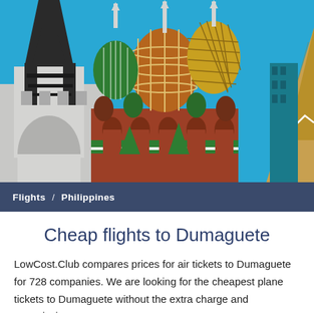[Figure (illustration): Colorful flat-design illustration of world landmarks including the Eiffel Tower (left, dark), Saint Basil's Cathedral (center, red-brown with ornate domes), and an Egyptian pyramid (right, golden-tan), all against a bright blue sky background.]
Flights / Philippines
Cheap flights to Dumaguete
LowCost.Club compares prices for air tickets to Dumaguete for 728 companies. We are looking for the cheapest plane tickets to Dumaguete without the extra charge and commission.
City: Dumaguete